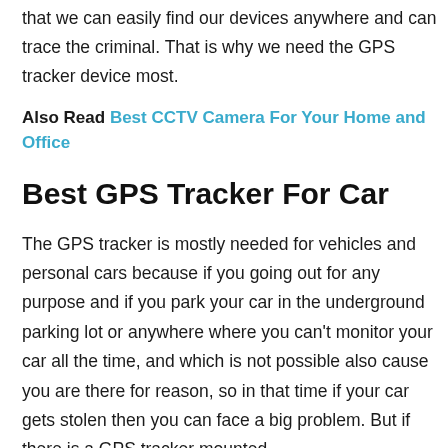that we can easily find our devices anywhere and can trace the criminal. That is why we need the GPS tracker device most.
Also Read Best CCTV Camera For Your Home and Office
Best GPS Tracker For Car
The GPS tracker is mostly needed for vehicles and personal cars because if you going out for any purpose and if you park your car in the underground parking lot or anywhere where you can't monitor your car all the time, and which is not possible also cause you are there for reason, so in that time if your car gets stolen then you can face a big problem. But if there is a GPS tracker mounted